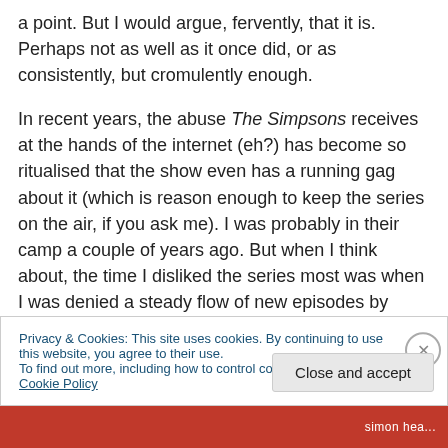a point. But I would argue, fervently, that it is. Perhaps not as well as it once did, or as consistently, but cromulently enough.
In recent years, the abuse The Simpsons receives at the hands of the internet (eh?) has become so ritualised that the show even has a running gag about it (which is reason enough to keep the series on the air, if you ask me). I was probably in their camp a couple of years ago. But when I think about, the time I disliked the series most was when I was denied a steady flow of new episodes by Rupert
Privacy & Cookies: This site uses cookies. By continuing to use this website, you agree to their use.
To find out more, including how to control cookies, see here: Cookie Policy
Close and accept